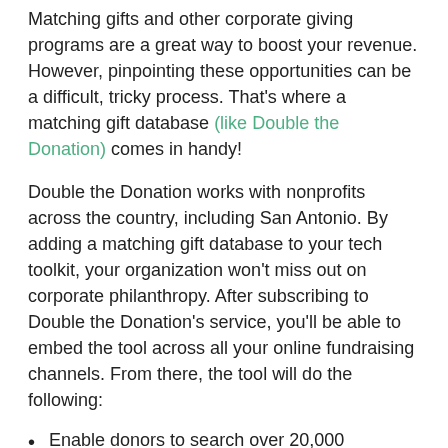Matching gifts and other corporate giving programs are a great way to boost your revenue. However, pinpointing these opportunities can be a difficult, tricky process. That's where a matching gift database (like Double the Donation) comes in handy!
Double the Donation works with nonprofits across the country, including San Antonio. By adding a matching gift database to your tech toolkit, your organization won't miss out on corporate philanthropy. After subscribing to Double the Donation's service, you'll be able to embed the tool across all your online fundraising channels. From there, the tool will do the following:
Enable donors to search over 20,000 companies.